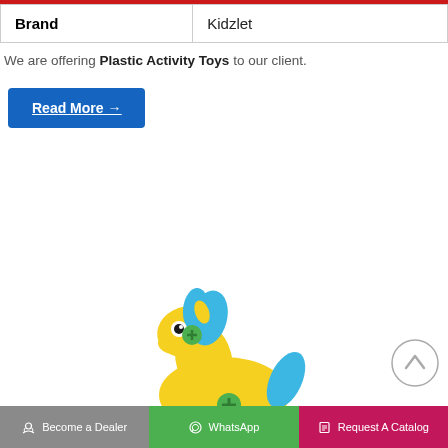| Brand | Kidzlet |
| --- | --- |
We are offering Plastic Activity Toys to our client.
Read More →
[Figure (photo): Yellow plastic toy horse with blue mane and tail, green screw details on cheeks and body, orange base. A colorful children's activity toy.]
Become a Dealer | WhatsApp | Request A Catalog